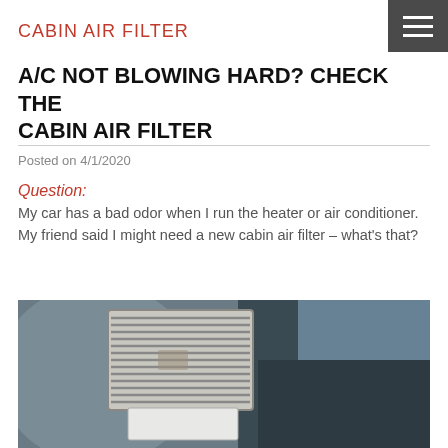CABIN AIR FILTER
A/C NOT BLOWING HARD? CHECK THE CABIN AIR FILTER
Posted on 4/1/2020
Question:
My car has a bad odor when I run the heater or air conditioner. My friend said I might need a new cabin air filter – what's that?
[Figure (photo): A technician wearing blue gloves holds up a dirty cabin air filter inside a vehicle interior]